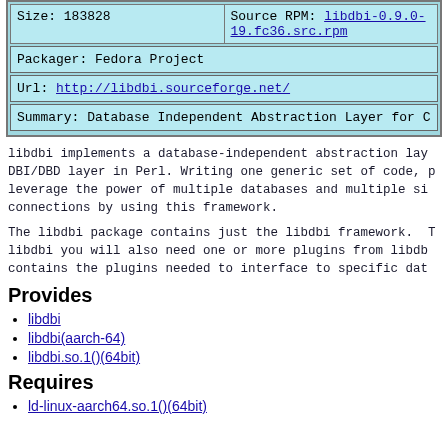| Size: 183828 | Source RPM: libdbi-0.9.0-19.fc36.src.rpm |
| Packager: Fedora Project |
| Url: http://libdbi.sourceforge.net/ |
| Summary: Database Independent Abstraction Layer for C |
libdbi implements a database-independent abstraction layer for C, similar to the DBI/DBD layer in Perl. Writing one generic set of code, programmers can leverage the power of multiple databases and multiple simultaneous database connections by using this framework.
The libdbi package contains just the libdbi framework. To make use of libdbi you will also need one or more plugins from libdbi-drivers, which contains the plugins needed to interface to specific databases.
Provides
libdbi
libdbi(aarch-64)
libdbi.so.1()(64bit)
Requires
ld-linux-aarch64.so.1()(64bit)